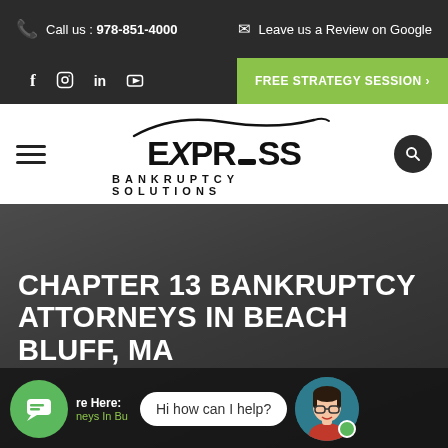Call us : 978-851-4000   Leave us a Review on Google
[Figure (screenshot): Social media icons (Facebook, Instagram, LinkedIn, YouTube) and FREE STRATEGY SESSION button]
[Figure (logo): Express Bankruptcy Solutions logo with swoosh above and tagline BANKRUPTCY SOLUTIONS below]
CHAPTER 13 BANKRUPTCY ATTORNEYS IN BEACH BLUFF, MA
[Figure (infographic): Chat widget showing green chat bubble icon, 're Here:' text, 'neys In Bu' text, 'Hi how can I help?' speech bubble, and avatar of woman with glasses]